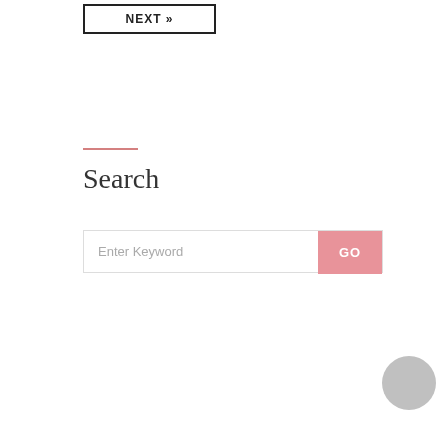NEXT »
Search
Enter Keyword
GO
[Figure (photo): Black and white portrait photo of a woman with highlighted hair, partially visible within a pink border frame. A grey circle is visible to the right.]